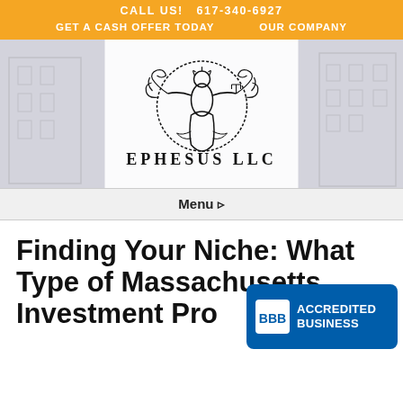CALL US!  617-340-6927
GET A CASH OFFER TODAY   OUR COMPANY
[Figure (logo): Ephesus LLC logo: ornate figure with scrollwork, text EPHESUS LLC below]
Menu ▾
Finding Your Niche: What Type of Massachusetts Investment Pro... Right For You?
[Figure (logo): BBB Accredited Business badge with blue background]